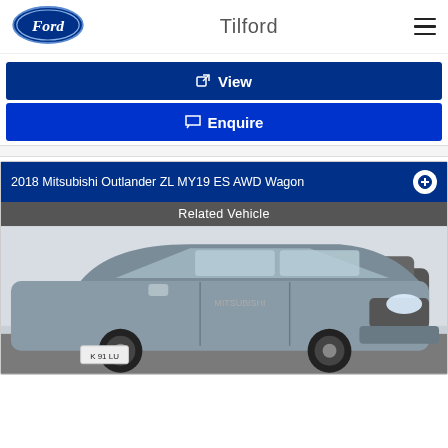[Figure (logo): Ford oval blue logo]
Tilford
View
Enquire
2018 Mitsubishi Outlander ZL MY19 ES AWD Wagon
Related Vehicle
[Figure (photo): Grey 2018 Mitsubishi Outlander ZL MY19 ES AWD Wagon parked in a lot, front three-quarter view, license plate K 91 LU]